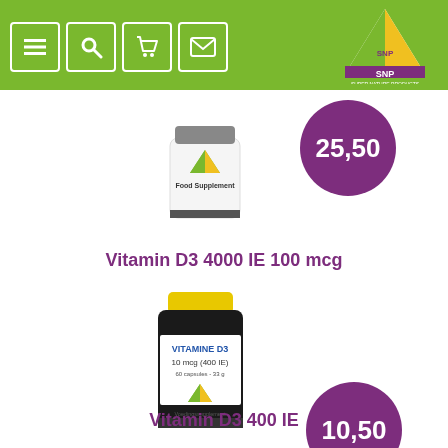[Figure (screenshot): Green navigation bar with menu, search, cart, and mail icon buttons, plus SNP Super Nature Products logo in top right]
[Figure (photo): SNP supplement bottle for Vitamin D3 4000 IE 100 mcg with price badge showing 25,50]
Vitamin D3 4000 IE 100 mcg
[Figure (photo): SNP dark bottle Vitamine D3 10 mcg (400 IE) with yellow cap, price badge showing 10,50]
Vitamin D3 400 IE
[Figure (photo): Partial view of another SNP Vitamin D3 supplement bottle at bottom of page]